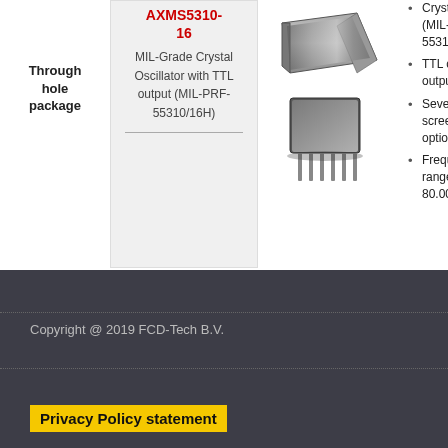Through hole package
AXMS5310-16
MIL-Grade Crystal Oscillator with TTL output (MIL-PRF-55310/16H)
[Figure (photo): Through-hole crystal oscillator component with metal can package and multiple pins]
Crystal oscillator (MIL-PRF-55310/16H)
TTL compatible output logic
Several screening options
Frequency range 0.150 to 80.000 MHz
Copyright @ 2019  FCD-Tech B.V.
Privacy Policy statement